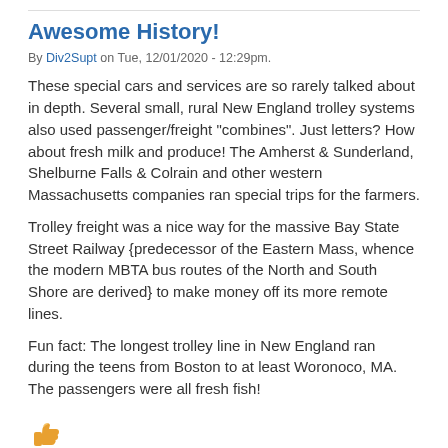Awesome History!
By Div2Supt on Tue, 12/01/2020 - 12:29pm.
These special cars and services are so rarely talked about in depth. Several small, rural New England trolley systems also used passenger/freight "combines". Just letters? How about fresh milk and produce! The Amherst & Sunderland, Shelburne Falls & Colrain and other western Massachusetts companies ran special trips for the farmers.
Trolley freight was a nice way for the massive Bay State Street Railway {predecessor of the Eastern Mass, whence the modern MBTA bus routes of the North and South Shore are derived} to make money off its more remote lines.
Fun fact: The longest trolley line in New England ran during the teens from Boston to at least Woronoco, MA. The passengers were all fresh fish!
[Figure (illustration): Thumbs up emoji icon in orange/yellow color]